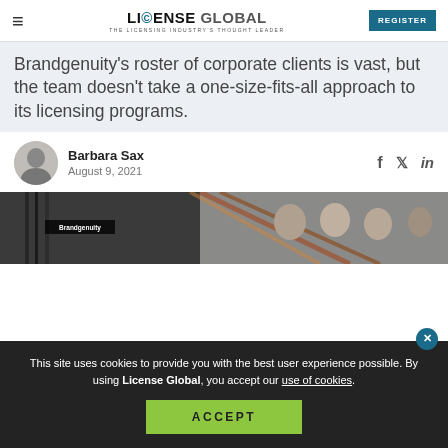LICENSE GLOBAL — THE LICENSING INDUSTRY'S THOUGHT LEADER | REGISTER
Brandgenuity's roster of corporate clients is vast, but the team doesn't take a one-size-fits-all approach to its licensing programs.
Barbara Sax
August 9, 2021
[Figure (photo): Group photo with Brandgenuity logo visible, people gathered around what appears to be a display or booth]
This site uses cookies to provide you with the best user experience possible. By using License Global, you accept our use of cookies.